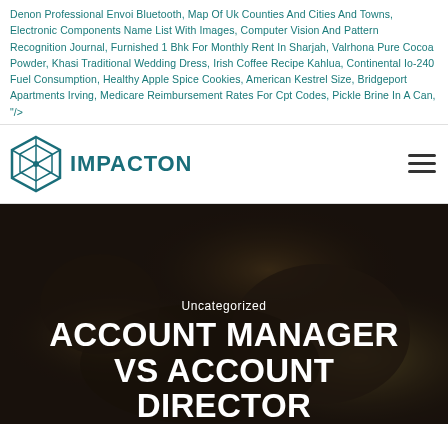Denon Professional Envoi Bluetooth, Map Of Uk Counties And Cities And Towns, Electronic Components Name List With Images, Computer Vision And Pattern Recognition Journal, Furnished 1 Bhk For Monthly Rent In Sharjah, Valrhona Pure Cocoa Powder, Khasi Traditional Wedding Dress, Irish Coffee Recipe Kahlua, Continental Io-240 Fuel Consumption, Healthy Apple Spice Cookies, American Kestrel Size, Bridgeport Apartments Irving, Medicare Reimbursement Rates For Cpt Codes, Pickle Brine In A Can, "/>
[Figure (logo): Impacton logo: a hexagonal geometric icon in teal/dark teal color with crosshair-style inner lines, followed by the text IMPACTON in bold teal uppercase letters]
[Figure (photo): Dark moody background photo showing metallic/mechanical objects with bokeh lighting effects, overlaid with white text: 'Uncategorized' above large bold uppercase text 'ACCOUNT MANAGER VS ACCOUNT DIRECTOR']
Uncategorized
ACCOUNT MANAGER VS ACCOUNT DIRECTOR